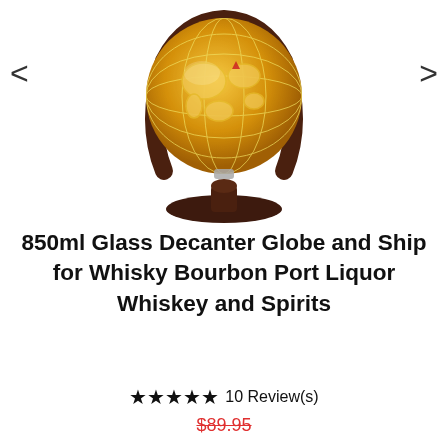[Figure (photo): A glass globe-shaped decanter with amber/golden liquid inside, featuring a world map design etched on the glass. The decanter sits on a dark mahogany wooden stand with a circular arc frame and round base.]
850ml Glass Decanter Globe and Ship for Whisky Bourbon Port Liquor Whiskey and Spirits
★★★★★ 10 Review(s)
$89.95